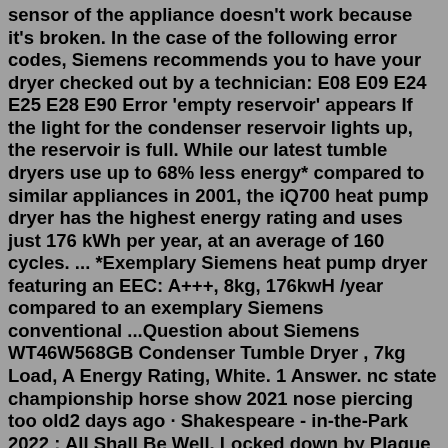sensor of the appliance doesn't work because it's broken. In the case of the following error codes, Siemens recommends you to have your dryer checked out by a technician: E08 E09 E24 E25 E28 E90 Error 'empty reservoir' appears If the light for the condenser reservoir lights up, the reservoir is full. While our latest tumble dryers use up to 68% less energy* compared to similar appliances in 2001, the iQ700 heat pump dryer has the highest energy rating and uses just 176 kWh per year, at an average of 160 cycles. ... *Exemplary Siemens heat pump dryer featuring an EEC: A+++, 8kg, 176kwH /year compared to an exemplary Siemens conventional ...Question about Siemens WT46W568GB Condenser Tumble Dryer , 7kg Load, A Energy Rating, White. 1 Answer. nc state championship horse show 2021 nose piercing too old2 days ago · Shakespeare - in-the-Park 2022 : All Shall Be Well. Locked down by Plague in London, Shakespeare writes King Lear. Over 400 years later, actors living through a pandemic of their own hear of this feat, and decide to perform a